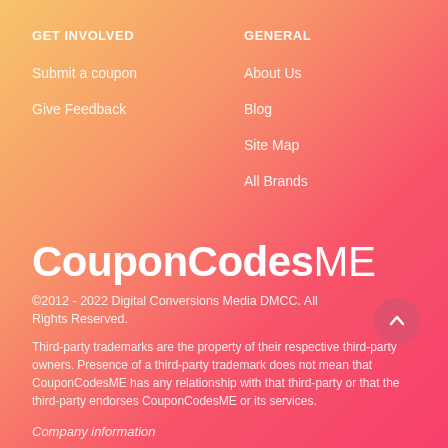GET INVOLVED
GENERAL
Submit a coupon
About Us
Give Feedback
Blog
Site Map
All Brands
CouponCodesME
©2012 - 2022 Digital Conversions Media DMCC. All Rights Reserved.
Third-party trademarks are the property of their respective third-party owners. Presence of a third-party trademark does not mean that CouponCodesME has any relationship with that third-party or that the third-party endorses CouponCodesME or its services.
Company information